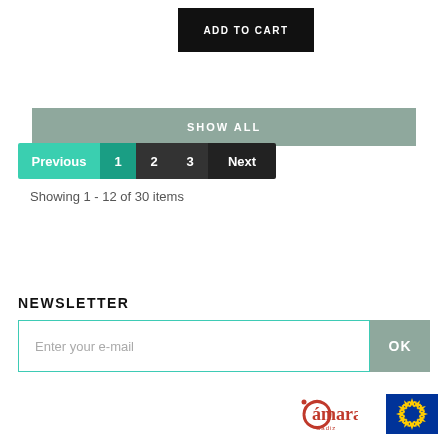ADD TO CART
SHOW ALL
Previous 1 2 3 Next
Showing 1 - 12 of 30 items
NEWSLETTER
Enter your e-mail
[Figure (logo): Cámara Cadiz logo in red]
[Figure (logo): European Union flag logo]